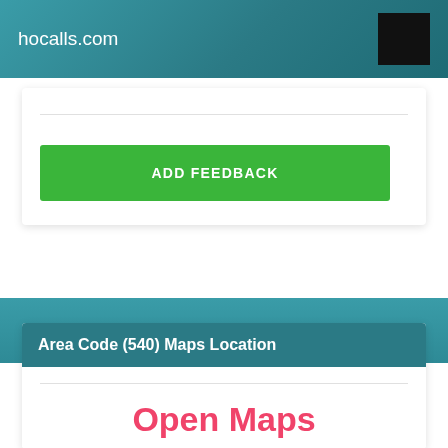hocalls.com
[Figure (other): Black square icon in top right header]
ADD FEEDBACK
Area Code (540) Maps Location
Open Maps